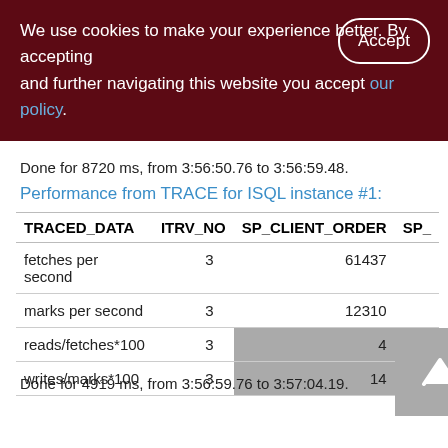We use cookies to make your experience better. By accepting and further navigating this website you accept our policy.
Done for 8720 ms, from 3:56:50.76 to 3:56:59.48.
Performance from TRACE for ISQL instance #1:
| TRACED_DATA | ITRV_NO | SP_CLIENT_ORDER | SP_ |
| --- | --- | --- | --- |
| fetches per second | 3 | 61437 |  |
| marks per second | 3 | 12310 |  |
| reads/fetches*100 | 3 | 4 |  |
| writes/marks*100 | 3 | 14 |  |
Done for 4919 ms, from 3:56:59.76 to 3:57:04.19.